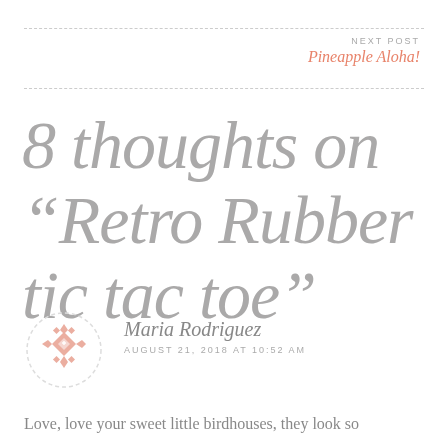NEXT POST
Pineapple Aloha!
8 thoughts on “Retro Rubber tic tac toe”
Maria Rodriguez
AUGUST 21, 2018 AT 10:52 AM
Love, love your sweet little birdhouses, they look so